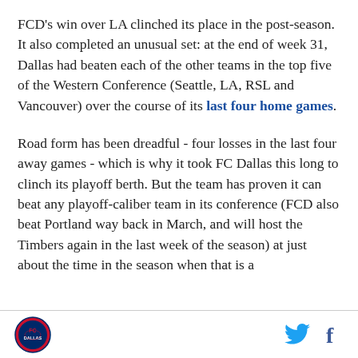FCD's win over LA clinched its place in the post-season. It also completed an unusual set: at the end of week 31, Dallas had beaten each of the other teams in the top five of the Western Conference (Seattle, LA, RSL and Vancouver) over the course of its last four home games.
Road form has been dreadful - four losses in the last four away games - which is why it took FC Dallas this long to clinch its playoff berth. But the team has proven it can beat any playoff-caliber team in its conference (FCD also beat Portland way back in March, and will host the Timbers again in the last week of the season) at just about the time in the season when that is a
[logo] [twitter] [facebook]